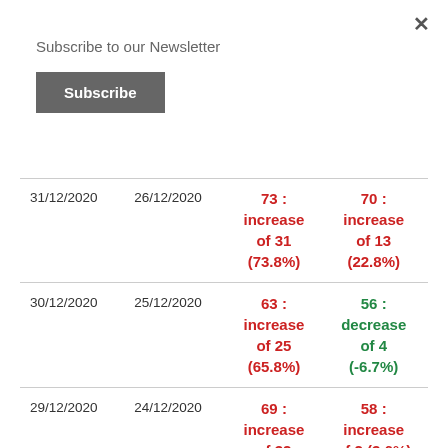Subscribe to our Newsletter
Subscribe
| Date 1 | Date 2 | Value 1 | Value 2 |
| --- | --- | --- | --- |
| 31/12/2020 | 26/12/2020 | 73 : increase of 31 (73.8%) | 70 : increase of 13 (22.8%) |
| 30/12/2020 | 25/12/2020 | 63 : increase of 25 (65.8%) | 56 : decrease of 4 (-6.7%) |
| 29/12/2020 | 24/12/2020 | 69 : increase of 32 | 58 : increase of 2 (3.6%) |